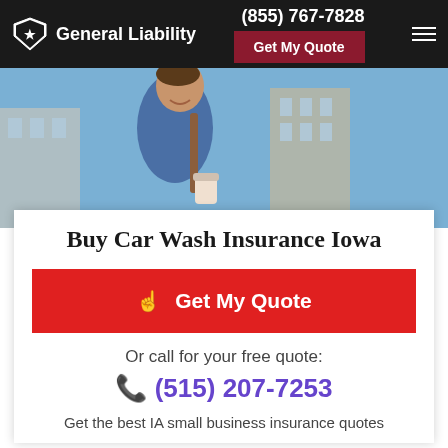General Liability | (855) 767-7828 | Get My Quote
[Figure (photo): Man in blue jacket holding a coffee cup, smiling, with a building and blue sky in the background.]
Buy Car Wash Insurance Iowa
Get My Quote
Or call for your free quote:
(515) 207-7253
Get the best IA small business insurance quotes